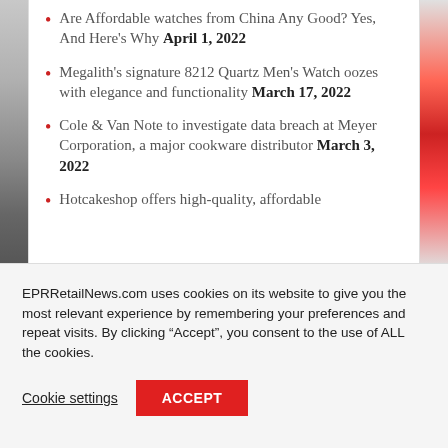Are Affordable watches from China Any Good? Yes, And Here's Why April 1, 2022
Megalith's signature 8212 Quartz Men's Watch oozes with elegance and functionality March 17, 2022
Cole & Van Note to investigate data breach at Meyer Corporation, a major cookware distributor March 3, 2022
Hotcakeshop offers high-quality, affordable
EPRRetailNews.com uses cookies on its website to give you the most relevant experience by remembering your preferences and repeat visits. By clicking “Accept”, you consent to the use of ALL the cookies.
Cookie settings  ACCEPT